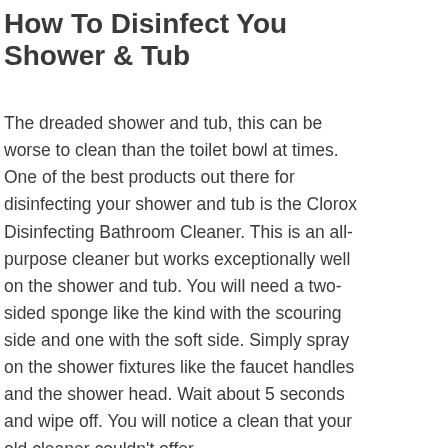How To Disinfect You Shower & Tub
The dreaded shower and tub, this can be worse to clean than the toilet bowl at times. One of the best products out there for disinfecting your shower and tub is the Clorox Disinfecting Bathroom Cleaner. This is an all-purpose cleaner but works exceptionally well on the shower and tub. You will need a two-sided sponge like the kind with the scouring side and one with the soft side. Simply spray on the shower fixtures like the faucet handles and the shower head. Wait about 5 seconds and wipe off. You will notice a clean that your old cleaner couldn't offer.